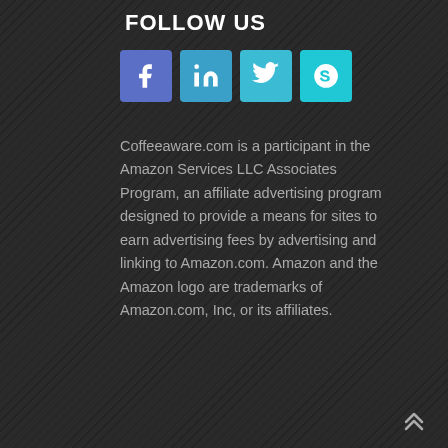FOLLOW US
[Figure (illustration): Four social media icon buttons in rounded squares: Facebook (purple-blue), LinkedIn (blue), Twitter (cyan-blue), Skype (cyan)]
Coffeeaware.com is a participant in the Amazon Services LLC Associates Program, an affiliate advertising program designed to provide a means for sites to earn advertising fees by advertising and linking to Amazon.com. Amazon and the Amazon logo are trademarks of Amazon.com, Inc, or its affiliates.